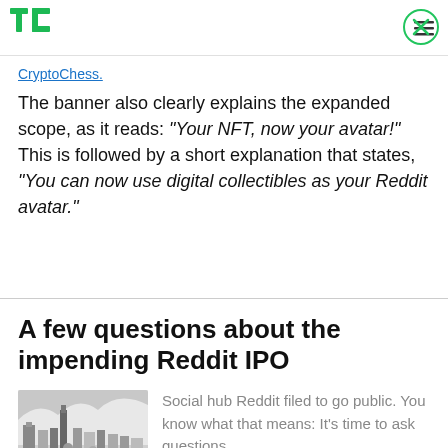TechCrunch
CryptoChess.
The banner also clearly explains the expanded scope, as it reads: “Your NFT, now your avatar!” This is followed by a short explanation that states, “You can now use digital collectibles as your Reddit avatar.”
A few questions about the impending Reddit IPO
[Figure (illustration): Isometric city illustration in grayscale showing urban buildings, roads, and landscape features]
Social hub Reddit filed to go public. You know what that means: It’s time to ask questions.